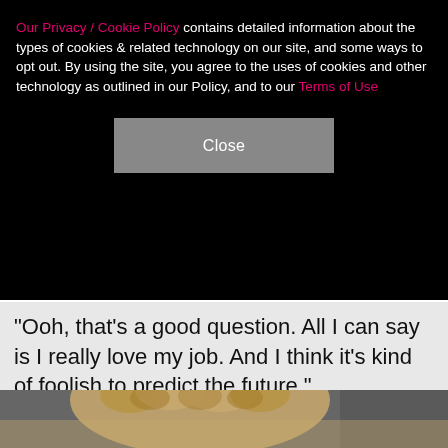Our Privacy / Cookie Policy contains detailed information about the types of cookies & related technology on our site, and some ways to opt out. By using the site, you agree to the uses of cookies and other technology as outlined in our Policy, and to our Terms of Use
Close
"Ooh, that's a good question. All I can say is I really love my job. And I think it's kind of foolish to predict the future."
[Figure (photo): Black and white photo of a person with short curly blonde hair, face partially visible from forehead up, with blurred background.]